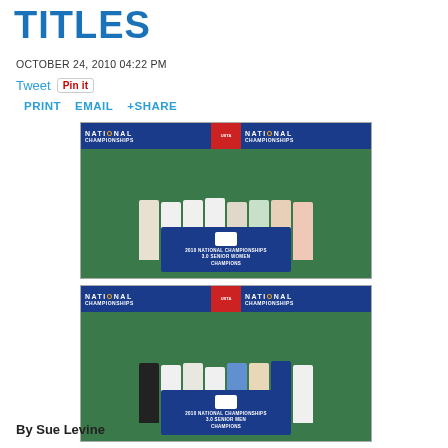TITLES
OCTOBER 24, 2010 04:22 PM
Tweet  Pin it  PRINT  EMAIL  +SHARE
[Figure (photo): Group photo of women tennis team holding a USTA 2010 National Championships 3.0 Senior Women Champions banner in front of a National Championships backdrop.]
[Figure (photo): Group photo of men tennis team holding a USTA 2010 National Championships 3.0 Senior Men Champions banner in front of a National Championships backdrop.]
By Sue Levine